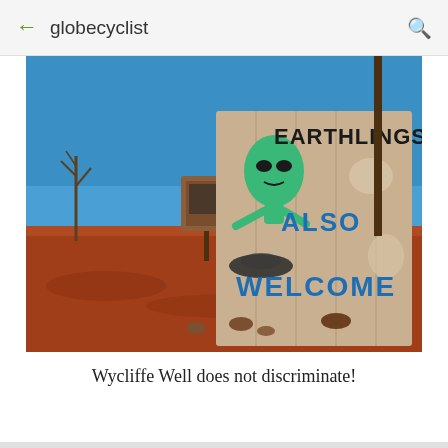globecyclist
[Figure (photo): Outdoor photo in Australian outback showing a weathered sign reading 'EARTHLINGS ALSO WELCOME' with a painted green alien figure, a smaller brown information sign in the background, red dirt ground, sparse trees under a clear blue sky.]
Wycliffe Well does not discriminate!